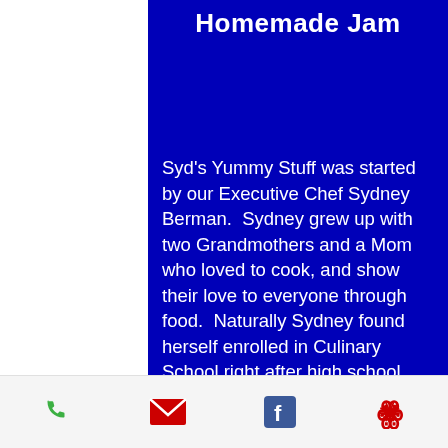Homemade Jam
Syd's Yummy Stuff was started by our Executive Chef Sydney Berman.  Sydney grew up with two Grandmothers and a Mom who loved to cook, and show their love to everyone through food.  Naturally Sydney found herself enrolled in Culinary School right after high school. Sydney's love of food turned into a love of healthy food; so once she graduated from Culinary School she got her Bachelor's in Nutrition and Dietetics.  This means our products are getting
Phone | Email | Facebook | Yelp